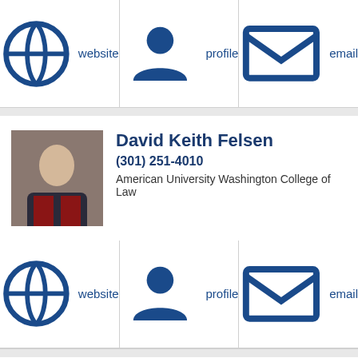website | profile | email
David Keith Felsen
(301) 251-4010
American University Washington College of Law
website | profile | email
Scott MacMullan
(443) 494-9775
Widener University
website | profile | email
... Shanna McWilli...